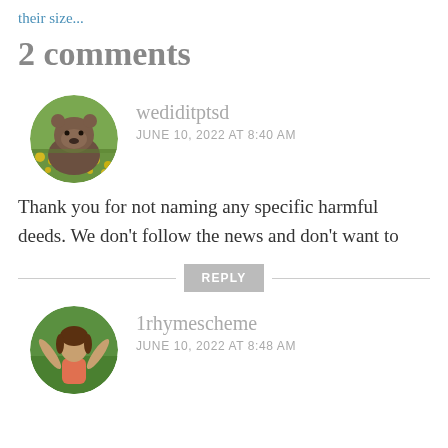their size...
2 comments
[Figure (photo): Circular avatar showing a grizzly bear in a field of yellow flowers]
wediditptsd
JUNE 10, 2022 AT 8:40 AM
Thank you for not naming any specific harmful deeds. We don't follow the news and don't want to
REPLY
[Figure (photo): Circular avatar showing a person with arms raised outdoors in a green setting]
1rhymescheme
JUNE 10, 2022 AT 8:48 AM